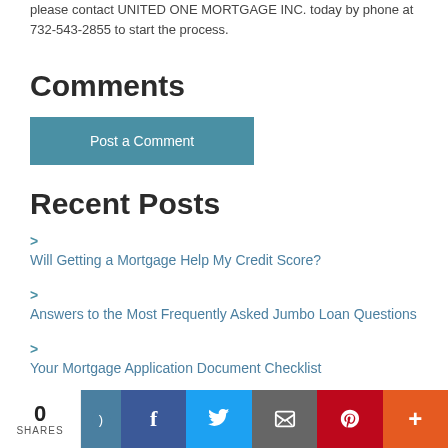please contact UNITED ONE MORTGAGE INC. today by phone at 732-543-2855 to start the process.
Comments
Post a Comment
Recent Posts
Will Getting a Mortgage Help My Credit Score?
Answers to the Most Frequently Asked Jumbo Loan Questions
Your Mortgage Application Document Checklist
0 SHARES